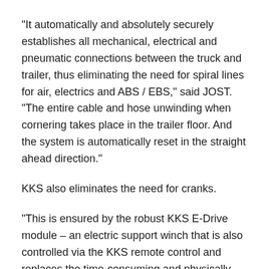“It automatically and absolutely securely establishes all mechanical, electrical and pneumatic connections between the truck and trailer, thus eliminating the need for spiral lines for air, electrics and ABS / EBS,” said JOST. “The entire cable and hose unwinding when cornering takes place in the trailer floor. And the system is automatically reset in the straight ahead direction.”
KKS also eliminates the need for cranks.
“This is ensured by the robust KKS E-Drive module – an electric support winch that is also controlled via the KKS remote control and replaces the time-consuming and physically strenuous cranking,” said JOST. “And by eliminating the crank, the space requirement is reduced enormously.”